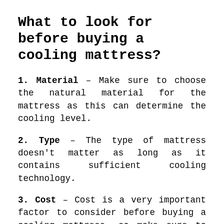What to look for before buying a cooling mattress?
1. Material – Make sure to choose the natural material for the mattress as this can determine the cooling level.
2. Type – The type of mattress doesn't matter as long as it contains sufficient cooling technology.
3. Cost – Cost is a very important factor to consider before buying a cooling mattress, so make sure to stay within